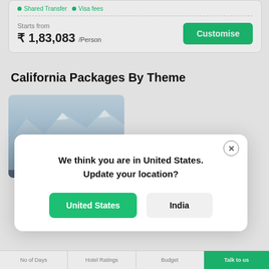Shared transfer  Visa fees
Starts from
₹ 1,83,083 /Person
Customise
California Packages By Theme
[Figure (photo): City skyline with snow-capped mountains in the background]
We think you are in United States.
Update your location?
United States
India
No of Days  |  Hotel Ratings  |  Budget  |  Talk to us